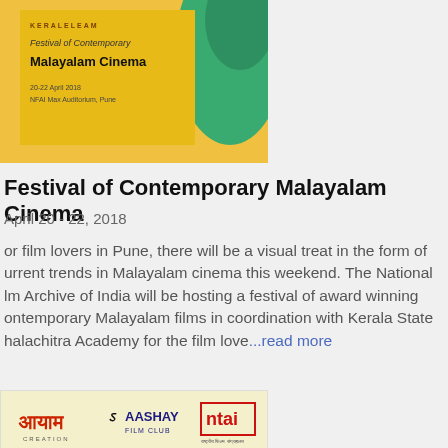[Figure (illustration): Festival of Contemporary Malayalam Cinema event poster with yellow/orange background, green decorative figure on right, festival branding text]
Festival of Contemporary Malayalam Cinema
April 20 - 22, 2018
For film lovers in Pune, there will be a visual treat in the form of current trends in Malayalam cinema this weekend. The National Film Archive of India will be hosting a festival of award winning contemporary Malayalam films in coordination with Kerala State Chalachitra Academy for the film love...read more
[Figure (illustration): Women's Film Festival 2018 event poster with cream background, logos of Aayam Creation, Aashay Film Club, NFAI, text about Women's Day event]